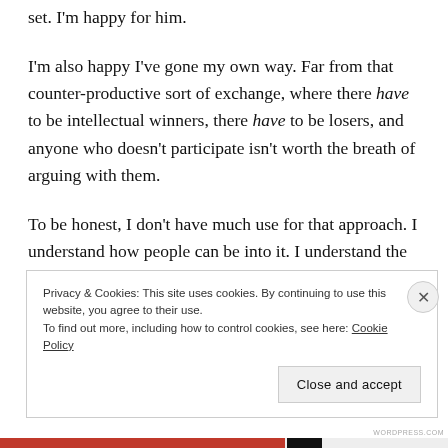set. I'm happy for him.
I'm also happy I've gone my own way. Far from that counter-productive sort of exchange, where there have to be intellectual winners, there have to be losers, and anyone who doesn't participate isn't worth the breath of arguing with them.
To be honest, I don't have much use for that approach. I understand how people can be into it. I understand the draw. I'm just not interested, myself. I'd much rather
Privacy & Cookies: This site uses cookies. By continuing to use this website, you agree to their use.
To find out more, including how to control cookies, see here: Cookie Policy
Close and accept